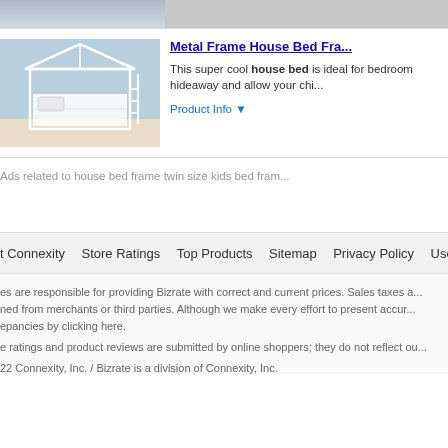[Figure (photo): Partial product image strip at top (cropped bed frame photo)]
[Figure (photo): Metal Frame House Bed product photo showing white house-shaped bed frame]
Metal Frame House Bed Fra...
This super cool house bed is ideal for bedroom hideaway and allow your chi...
Product Info ▼
Ads related to house bed frame twin size kids bed fram...
t Connexity   Store Ratings   Top Products   Sitemap   Privacy Policy   User Agreement
es are responsible for providing Bizrate with correct and current prices. Sales taxes a... ned from merchants or third parties. Although we make every effort to present accur... epancies by clicking here.
e ratings and product reviews are submitted by online shoppers; they do not reflect ou...
22 Connexity, Inc. / Bizrate is a division of Connexity, Inc.